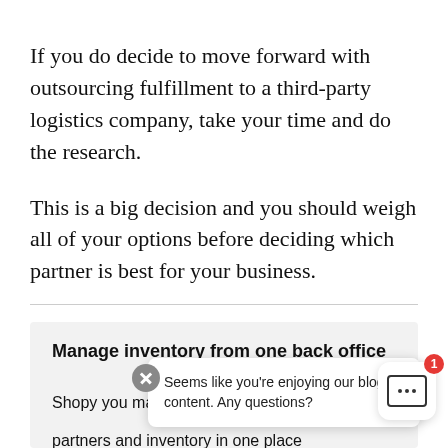If you do decide to move forward with outsourcing fulfillment to a third-party logistics company, take your time and do the research.
This is a big decision and you should weigh all of your options before deciding which partner is best for your business.
Manage inventory from one back office
Shopify... you may... partners and inventory in one place
[Figure (screenshot): Chat tooltip popup with text 'Seems like you're enjoying our blog content. Any questions?' overlaid on the page, with a close button and a chat widget with a notification badge showing '1'.]